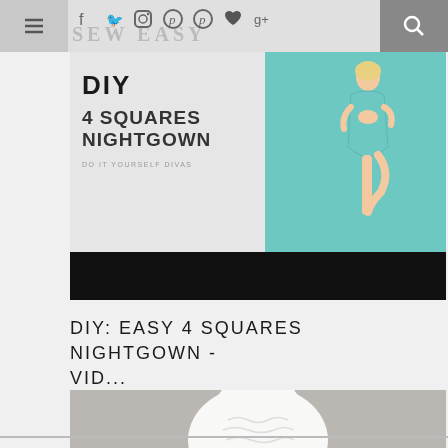SEW EASY (navigation bar with menu, social icons, search)
[Figure (photo): DIY 4 Squares Nightgown promotional image with text overlay on left showing 'DIY', '4 SQUARES NIGHTGOWN', 'DO IT YOURSELF DIVAS' and a woman in a teal dress doing a yoga tree pose on the right. Black bar at bottom.]
DIY: EASY 4 SQUARES NIGHTGOWN - VID...
[Figure (photo): White knitted hat or beanie on a gray background, partially cut off at bottom of page.]